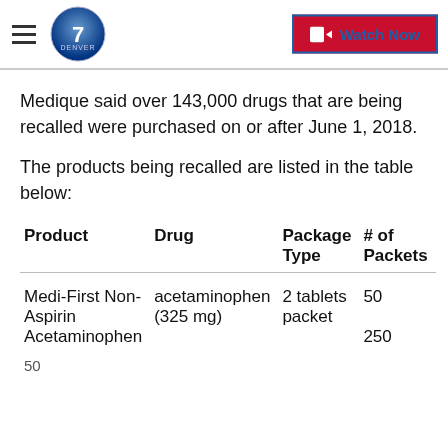Denver7 — Watch Now
Medique said over 143,000 drugs that are being recalled were purchased on or after June 1, 2018.
The products being recalled are listed in the table below:
| Product | Drug | Package Type | # of Packets |
| --- | --- | --- | --- |
| Medi-First Non-Aspirin Acetaminophen | acetaminophen (325 mg) | 2 tablets packet | 50
250 |